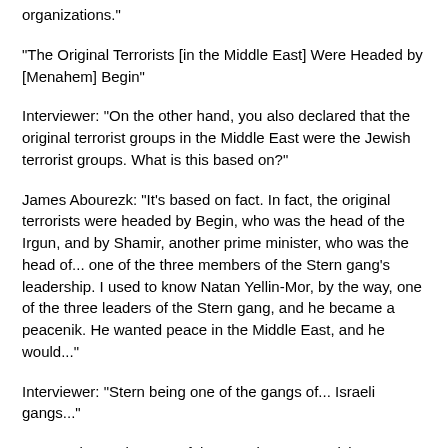organizations."
"The Original Terrorists [in the Middle East] Were Headed by [Menahem] Begin"
Interviewer: "On the other hand, you also declared that the original terrorist groups in the Middle East were the Jewish terrorist groups. What is this based on?"
James Abourezk: "It's based on fact. In fact, the original terrorists were headed by Begin, who was the head of the Irgun, and by Shamir, another prime minister, who was the head of... one of the three members of the Stern gang's leadership. I used to know Natan Yellin-Mor, by the way, one of the three leaders of the Stern gang, and he became a peacenik. He wanted peace in the Middle East, and he would..."
Interviewer: "Stern being one of the gangs of... Israeli gangs..."
James Abourezk: "One of the terrorist groups, vicious terrorist groups. Natan Yellin-Mor became... He was one of the heads of the Stern gang. They had a three-part head, and he was one of them. But he became a peacenik. He wanted peace between the Arabs and the Israelis, and so